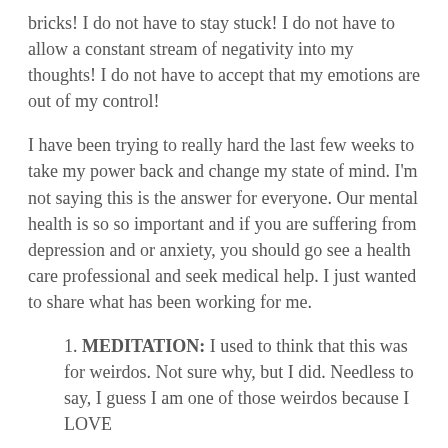bricks! I do not have to stay stuck! I do not have to allow a constant stream of negativity into my thoughts! I do not have to accept that my emotions are out of my control!
I have been trying to really hard the last few weeks to take my power back and change my state of mind. I'm not saying this is the answer for everyone. Our mental health is so so important and if you are suffering from depression and or anxiety, you should go see a health care professional and seek medical help. I just wanted to share what has been working for me.
1. MEDITATION: I used to think that this was for weirdos. Not sure why, but I did. Needless to say, I guess I am one of those weirdos because I LOVE